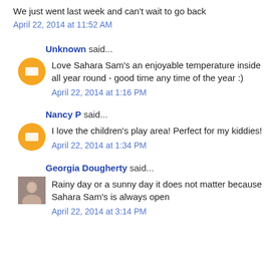We just went last week and can't wait to go back
April 22, 2014 at 11:52 AM
Unknown said...
Love Sahara Sam's an enjoyable temperature inside all year round - good time any time of the year :)
April 22, 2014 at 1:16 PM
Nancy P said...
I love the children's play area! Perfect for my kiddies!
April 22, 2014 at 1:34 PM
Georgia Dougherty said...
Rainy day or a sunny day it does not matter because Sahara Sam's is always open
April 22, 2014 at 3:14 PM